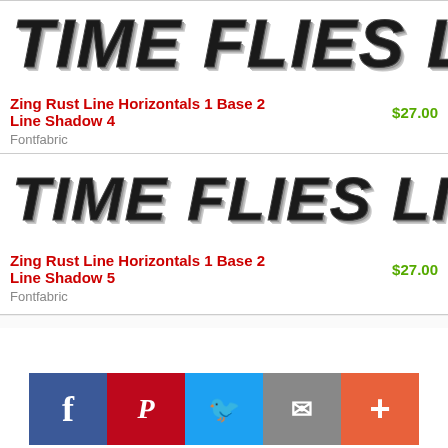[Figure (illustration): Font preview showing 'TIME FLIES LIKE AN ARRO' in large bold italic style with textured/hatched appearance, clipped at right edge]
Zing Rust Line Horizontals 1 Base 2 Line Shadow 4   $27.00
Fontfabric
[Figure (illustration): Font preview showing 'TIME FLIES LIKE AN ARRO' in large bold italic style with textured/hatched appearance, clipped at right edge]
Zing Rust Line Horizontals 1 Base 2 Line Shadow 5   $27.00
Fontfabric
[Figure (infographic): Social sharing bar with Facebook, Pinterest, Twitter, email, and plus buttons]